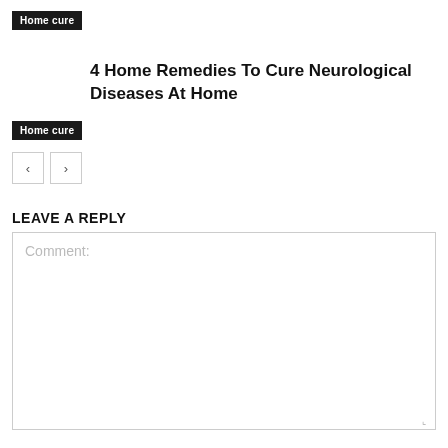Home cure
4 Home Remedies To Cure Neurological Diseases At Home
Home cure
LEAVE A REPLY
Comment: